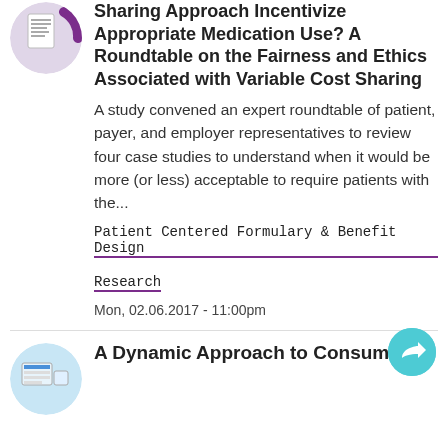Sharing Approach Incentivize Appropriate Medication Use? A Roundtable on the Fairness and Ethics Associated with Variable Cost Sharing
A study convened an expert roundtable of patient, payer, and employer representatives to review four case studies to understand when it would be more (or less) acceptable to require patients with the...
Patient Centered Formulary & Benefit Design
Research
Mon, 02.06.2017 - 11:00pm
A Dynamic Approach to Consumer